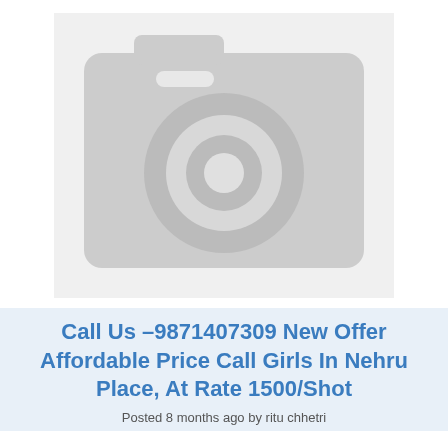[Figure (illustration): Gray placeholder image with a camera icon (body, lens circle, viewfinder rectangle) on a light gray background with rounded corners]
Call Us –9871407309 New Offer Affordable Price Call Girls In Nehru Place, At Rate 1500/Shot
Posted 8 months ago by ritu chhetri